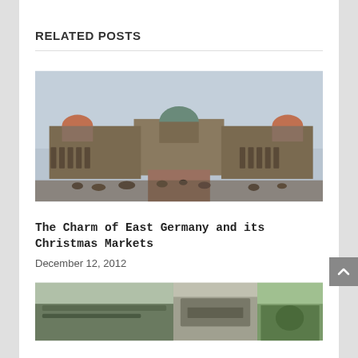RELATED POSTS
[Figure (photo): Wide panoramic photo of the Zwinger Palace in Dresden, Germany, showing baroque architecture with ornate buildings, orange-tiled domes, and a courtyard with visitors in the foreground under a grey sky.]
The Charm of East Germany and its Christmas Markets
December 12, 2012
[Figure (photo): Partial view of three thumbnail images at the bottom: left shows a greenish outdoor scene, center shows ruins or rocks, right shows foliage/trees.]